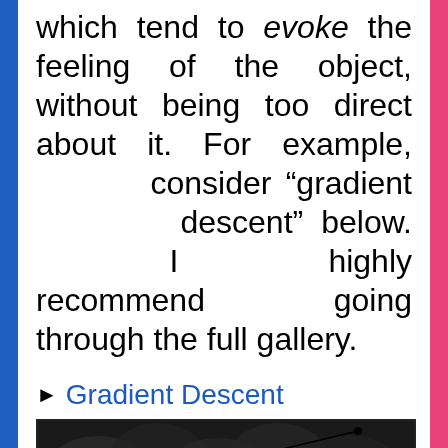which tend to evoke the feeling of the object, without being too direct about it. For example, consider “gradient descent” below. I highly recommend going through the full gallery.
► Gradient Descent
[Figure (photo): A dark greyscale image showing a gradient descent visualization with swirling patterns and a line with a dot, resembling a mathematical optimization landscape.]